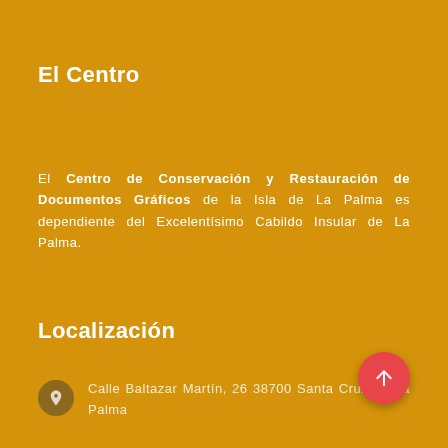El Centro
El Centro de Conservación y Restauración de Documentos Gráficos de la Isla de La Palma es dependiente del Excelentísimo Cabildo Insular de La Palma.
Localización
Calle Baltazar Martín, 26 38700 Santa Cruz de La Palma